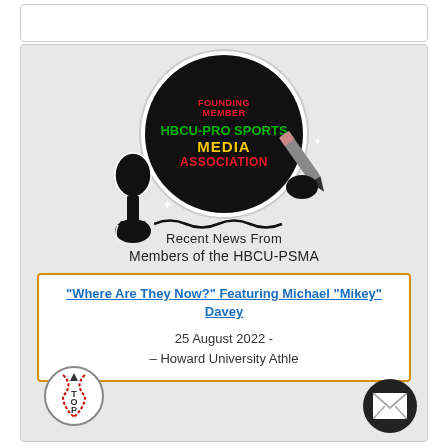[Figure (logo): HBCU-Pro Sports Media Association Founding Member logo — black circle with red 'FOUNDING MEMBER' text at top, green 'HBCU-PRO SPORTS' text, yellow 'MEDIA' text, red 'ASSOCIATION' text, with microphone and pencil graphics]
Recent News From
Members of the HBCU-PSMA
"Where Are They Now?" Featuring Michael "Mikey" Davey

25 August 2022 -
- Howard University Athle...